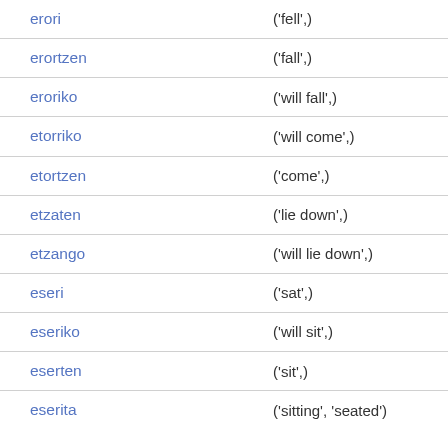| erori | ('fell',) |
| erortzen | ('fall',) |
| eroriko | ('will fall',) |
| etorriko | ('will come',) |
| etortzen | ('come',) |
| etzaten | ('lie down',) |
| etzango | ('will lie down',) |
| eseri | ('sat',) |
| eseriko | ('will sit',) |
| eserten | ('sit',) |
| eserita | ('sitting', 'seated') |